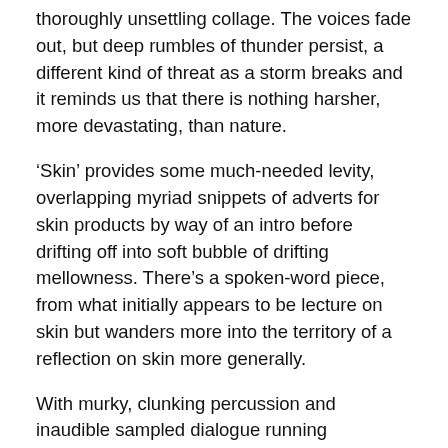thoroughly unsettling collage. The voices fade out, but deep rumbles of thunder persist, a different kind of threat as a storm breaks and it reminds us that there is nothing harsher, more devastating, than nature.
‘Skin’ provides some much-needed levity, overlapping myriad snippets of adverts for skin products by way of an intro before drifting off into soft bubble of drifting mellowness. There’s a spoken-word piece, from what initially appears to be lecture on skin but wanders more into the territory of a reflection on skin more generally.
With murky, clunking percussion and inaudible sampled dialogue running throughout its twelve-minute running time, the dark and impenetrable ‘Set free all the birds from your wife’s aviary’ is another level of unsettling, and it’s difficult to settle or adjust to despite the relentless booming